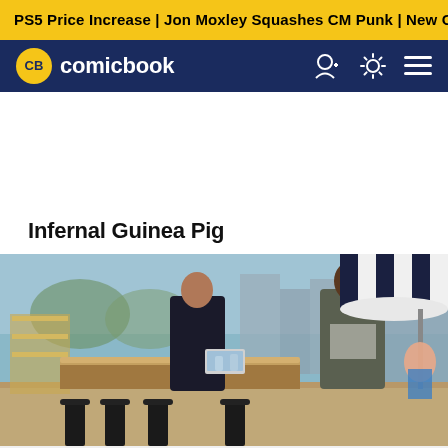PS5 Price Increase | Jon Moxley Squashes CM Punk | New Ge
CB comicbook
Infernal Guinea Pig
[Figure (photo): Two men standing at a rooftop bar. One man in a black jacket on the left, another taller man in a grey shirt on the right. Background shows a sunny outdoor rooftop party scene with an umbrella, bar stools, and city buildings.]